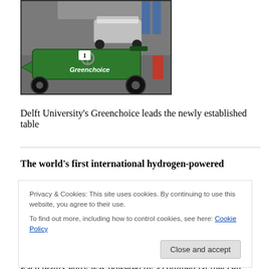[Figure (photo): A green go-kart branded 'Greenchoice' on a track, with other karts and people visible in the background.]
Delft University's Greenchoice leads the newly established table
The world's first international hydrogen-powered
Privacy & Cookies: This site uses cookies. By continuing to use this website, you agree to their use.
To find out more, including how to control cookies, see here: Cookie Policy
Each team's entry was powered by a commercial fuel cell